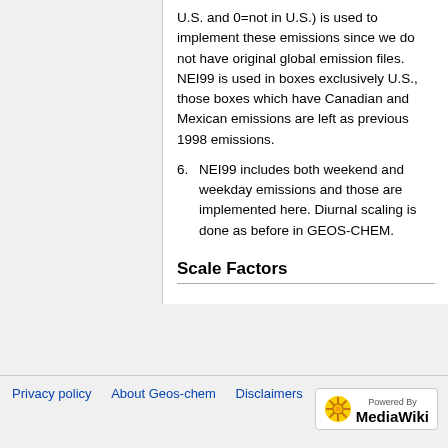U.S. and 0=not in U.S.) is used to implement these emissions since we do not have original global emission files. NEI99 is used in boxes exclusively U.S., those boxes which have Canadian and Mexican emissions are left as previous 1998 emissions.
6. NEI99 includes both weekend and weekday emissions and those are implemented here. Diurnal scaling is done as before in GEOS-CHEM.
Scale Factors
Privacy policy   About Geos-chem   Disclaimers